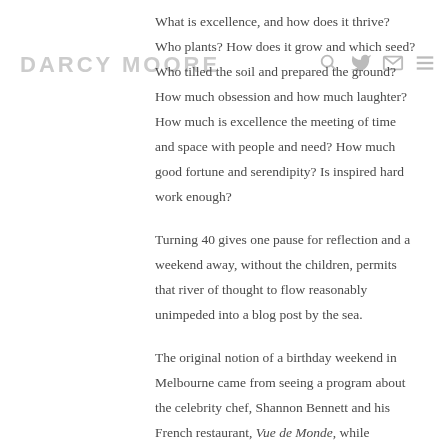DARCY MOORE
What is excellence, and how does it thrive? Who plants? How does it grow and which seed? Who tilled the soil and prepared the ground? How much obsession and how much laughter? How much is excellence the meeting of time and space with people and need? How much good fortune and serendipity? Is inspired hard work enough?
Turning 40 gives one pause for reflection and a weekend away, without the children, permits that river of thought to flow reasonably unimpeded into a blog post by the sea.
The original notion of a birthday weekend in Melbourne came from seeing a program about the celebrity chef, Shannon Bennett and his French restaurant, Vue de Monde, while travelling through Western Australia